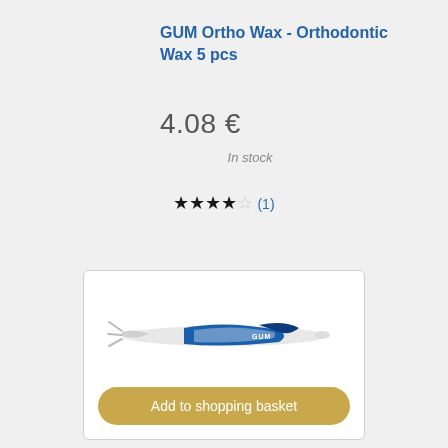GUM Ortho Wax - Orthodontic Wax 5 pcs
4.08 €
In stock
★★★★☆ (1)
[Figure (photo): Product image of orthodontic dental tools/picks with blue and white coloring, with an 'Add to shopping basket' button below]
Add to shopping basket